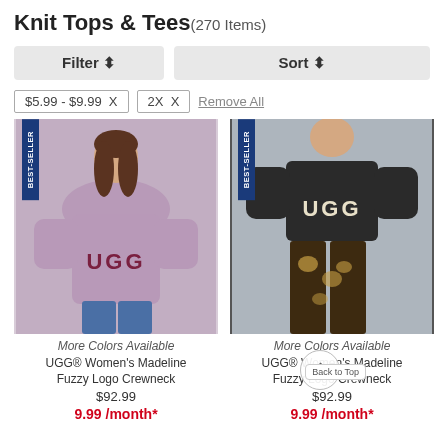Knit Tops & Tees (270 Items)
Filter ⬍  |  Sort ⬍
$5.99 - $9.99 X   2X X   Remove All
[Figure (photo): Purple UGG Women's Madeline Fuzzy Logo Crewneck sweatshirt worn by a woman with BEST-SELLER badge]
More Colors Available
UGG® Women's Madeline Fuzzy Logo Crewneck
$92.99
9.99 /month*
[Figure (photo): Black UGG Women's Madeline Fuzzy Logo Crewneck sweatshirt worn by a model with BEST-SELLER badge]
More Colors Available
UGG® Women's Madeline Fuzzy Logo Crewneck
$92.99
9.99 /month*